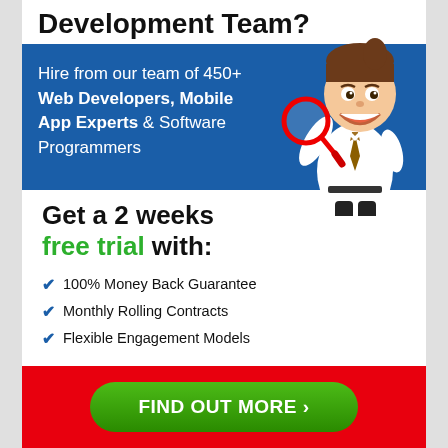Development Team?
[Figure (illustration): Blue banner with cartoon businessman character holding a magnifying glass, smiling, wearing a white shirt and tie]
Hire from our team of 450+ Web Developers, Mobile App Experts & Software Programmers
Get a 2 weeks free trial with:
100% Money Back Guarantee
Monthly Rolling Contracts
Flexible Engagement Models
FIND OUT MORE >